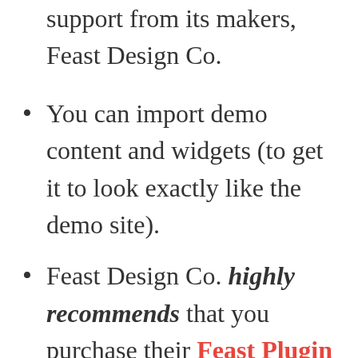support from its makers, Feast Design Co.
You can import demo content and widgets (to get it to look exactly like the demo site).
Feast Design Co. highly recommends that you purchase their Feast Plugin instead of the Foodie Pro theme alone—because purchasing the Feast Plugin gives you access to ALL FIVE of their themes plus